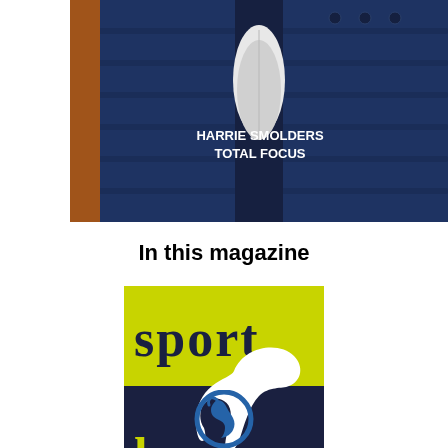[Figure (photo): Magazine cover showing a person wearing a navy blue puffer jacket with a white tie/cravat. Vertical white text on left reads 'HORS' (partially visible). White text on right reads 'HARRIE SMOLDERS TOTAL FOCUS'.]
In this magazine
[Figure (logo): Sport Horses magazine logo: lime green upper half with 'sport' text, dark navy lower half with white horse silhouette and 'horses' text in lime green]
[Figure (logo): Blue circular logo with a stylized horse head]